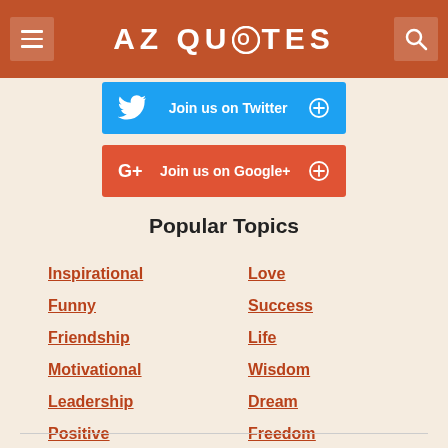AZ QUOTES
[Figure (screenshot): Twitter social join button - blue background with Twitter bird icon and text 'Join us on Twitter' with a plus circle icon]
[Figure (screenshot): Google+ social join button - red/orange background with G+ icon and text 'Join us on Google+' with a plus circle icon]
Popular Topics
Inspirational
Love
Funny
Success
Friendship
Life
Motivational
Wisdom
Leadership
Dream
Positive
Freedom
Knowledge
Happiness